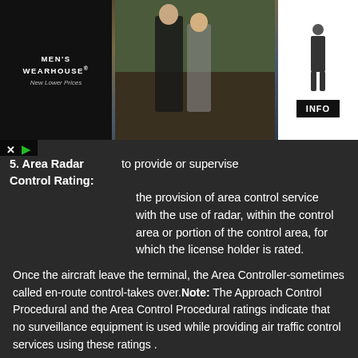[Figure (photo): Men's Wearhouse advertisement banner with a couple in formal wear and a man in a suit, with INFO button]
5. Area Radar Control Rating: to provide or supervise the provision of area control service with the use of radar, within the control area or portion of the control area, for which the license holder is rated.
Once the aircraft leave the terminal, the Area Controller-sometimes called en-route control-takes over.Note: The Approach Control Procedural and the Area Control Procedural ratings indicate that no surveillance equipment is used while providing air traffic control services using these ratings .
6. Pass the English Language Proficiency exam and attain either of;
1. Operational Level (Level 4); Valid for 3 years